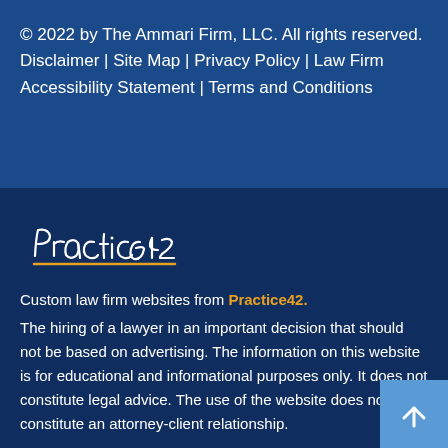© 2022 by The Ammari Firm, LLC. All rights reserved. Disclaimer | Site Map | Privacy Policy | Law Firm Accessibility Statement | Terms and Conditions
[Figure (logo): Practice42 logo in white handwritten script with gold underline]
Custom law firm websites from Practice42.
The hiring of a lawyer in an important decision that should not be based on advertising. The information on this website is for educational and informational purposes only. It does not constitute legal advice. The use of the website does not constitute an attorney-client relationship.